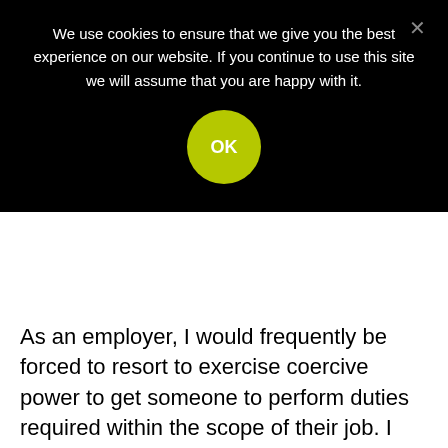[Figure (screenshot): Cookie consent banner overlay on a dark background. Text reads: 'We use cookies to ensure that we give you the best experience on our website. If you continue to use this site we will assume that you are happy with it.' with an OK button (yellow-green circle) and a close X button.]
As an employer, I would frequently be forced to resort to exercise coercive power to get someone to perform duties required within the scope of their job. I have always exercised this power cautiously because I have been on the receiving end of unchecked coercive tyrants and I know the deep resentment it can foment. Reading Zur and Green I relate to the dangers of this power within